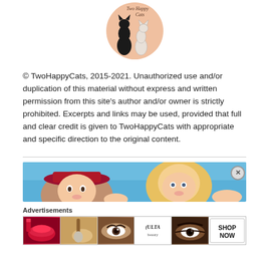[Figure (logo): Two Happy Cats logo: circular peach/salmon background with a black cat and a white cat silhouette, text 'Two Happy Cats' in italic serif font at top right]
© TwoHappyCats, 2015-2021. Unauthorized use and/or duplication of this material without express and written permission from this site's author and/or owner is strictly prohibited. Excerpts and links may be used, provided that full and clear credit is given to TwoHappyCats with appropriate and specific direction to the original content.
[Figure (illustration): Anime-style illustration of two characters: one wearing a red hat and one with blonde hair, close-up faces, cartoon style with blue sky background. Close button (X in circle) on right side.]
Advertisements
[Figure (infographic): Advertisement strip showing beauty/makeup imagery: red lips, makeup brush, eye, ULTA beauty logo, eyebrow/eye, and 'SHOP NOW' text panel]